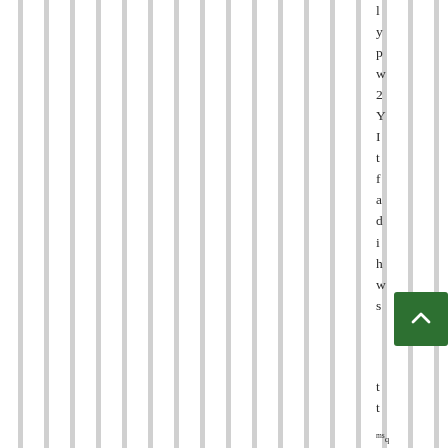[Figure (illustration): Vertical grey and white stripes pattern covering most of the page background]
l y p w 2 Y I t f a d i h w s t t
[Figure (other): Green square button with upward-pointing chevron arrow (scroll to top button)]
ms q